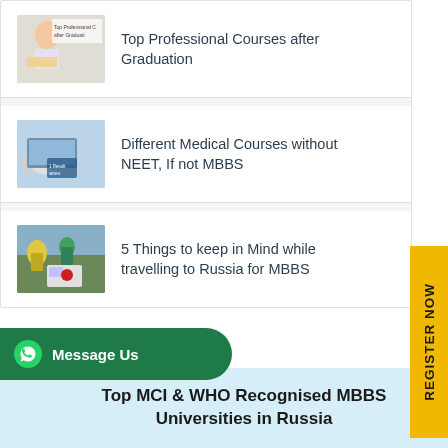[Figure (photo): Student studying — Top Professional Courses after Graduation thumbnail]
Top Professional Courses after Graduation
[Figure (photo): Medical stethoscope and laptop — Different Medical Courses without NEET thumbnail]
Different Medical Courses without NEET, If not MBBS
[Figure (photo): Russia travel — 5 Things to keep in Mind while travelling to Russia for MBBS thumbnail]
5 Things to keep in Mind while travelling to Russia for MBBS
[Figure (illustration): Yellow REGISTER NOW vertical sidebar button]
[Figure (logo): WhatsApp Message Us green button]
Top MCI & WHO Recognised MBBS Universities in Russia